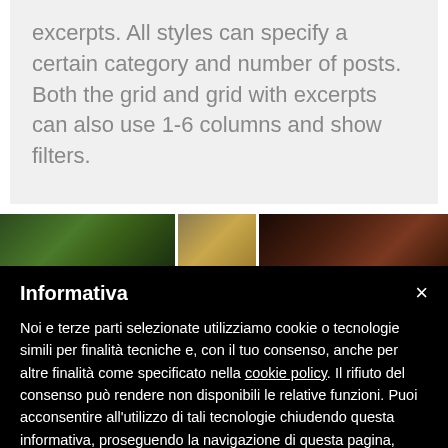excerpts. All styles can specify a certain category and number of posts. Both the grid and grid with excerpts can also use 1-6 columns and show filters.
[Figure (photo): Three partial photo thumbnails in a horizontal strip: a green leafy/nature photo on the left, an amber/golden toned image in the middle, and a dark reddish-brown image on the right.]
Informativa
Noi e terze parti selezionate utilizziamo cookie o tecnologie simili per finalità tecniche e, con il tuo consenso, anche per altre finalità come specificato nella cookie policy. Il rifiuto del consenso può rendere non disponibili le relative funzioni. Puoi acconsentire all'utilizzo di tali tecnologie chiudendo questa informativa, proseguendo la navigazione di questa pagina, interagendo con un link o un pulsante al di fuori di questa informativa o continuando a navigare in altro modo.